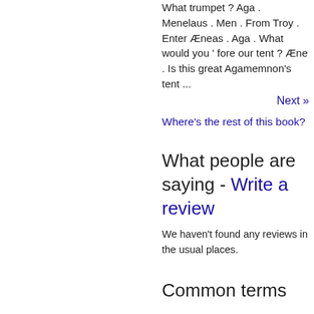What trumpet ? Aga . Menelaus . Men . From Troy . Enter Æneas . Aga . What would you ' fore our tent ? Æne . Is this great Agamemnon's tent ...
Next »
Where's the rest of this book?
What people are saying - Write a review
We haven't found any reviews in the usual places.
Common terms